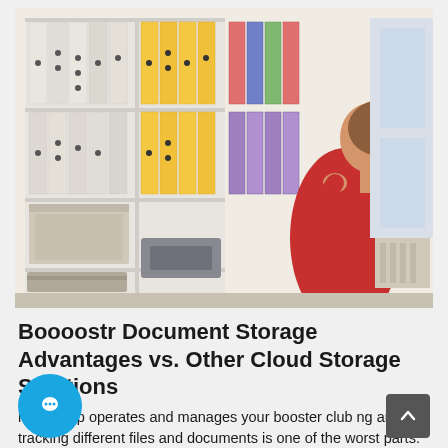[Figure (photo): A woman in a red sweater standing in an office, looking up at shelves filled with white and colorful binders/folders.]
Boooostr Document Storage Advantages vs. Other Cloud Storage Solutions
leadership operates and manages your booster club ng and tracking different files and documents is one of the worst parts. But what if you had a system and tool that could